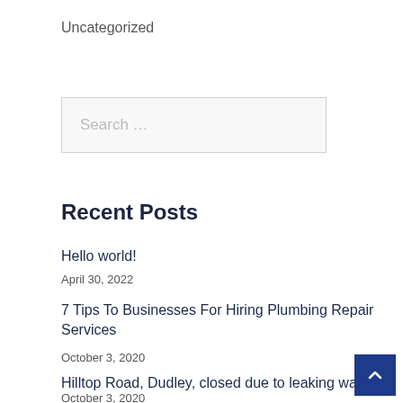Uncategorized
Search ...
Recent Posts
Hello world!
April 30, 2022
7 Tips To Businesses For Hiring Plumbing Repair Services
October 3, 2020
Hilltop Road, Dudley, closed due to leaking water p…
October 3, 2020